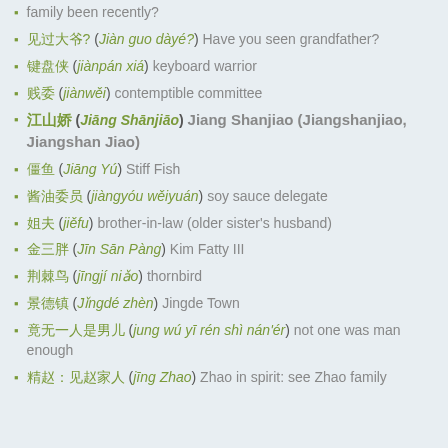family been recently?
见过大爷? (Jiàn guo dàyé?) Have you seen grandfather?
键盘侠 (jiànpán xiá) keyboard warrior
贱委 (jiànwěi) contemptible committee
江山娇 (Jiāng Shānjiāo) Jiang Shanjiao (Jiangshanjiao, Jiangshan Jiao)
僵鱼 (Jiāng Yú) Stiff Fish
酱油委员 (jiàngyóu wěiyuán) soy sauce delegate
姐夫 (jiěfu) brother-in-law (older sister's husband)
金三胖 (Jīn Sān Pàng) Kim Fatty III
荆棘鸟 (jīngjí niǎo) thornbird
景德镇 (Jǐngdé zhèn) Jingde Town
竟无一人是男儿 (jung wú yī rén shì nán'ér) not one was man enough
精赵：见赵家人 (jīng Zhao) Zhao in spirit: see Zhao family